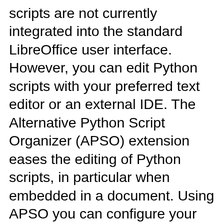scripts are not currently integrated into the standard LibreOffice user interface. However, you can edit Python scripts with your preferred text editor or an external IDE. The Alternative Python Script Organizer (APSO) extension eases the editing of Python scripts, in particular when embedded in a document. Using APSO you can configure your preferred source code editor, start the integrated Python shell and debug Python scripts. For more information search for “Python macros” in the LibreOffice Help system and visit the Designing & Developing Python Applications section of The Document Foundation’s wiki (https://wiki.documentfoundation.org/Macros
Listing 12 is an example of a Python macro that sets cell A1 of the first